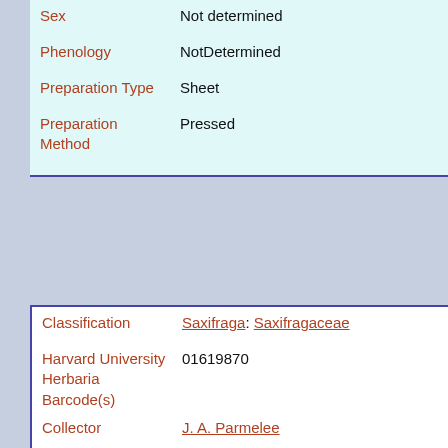| Field | Value |
| --- | --- |
| Sex | Not determined |
| Phenology | NotDetermined |
| Preparation Type | Sheet |
| Preparation Method | Pressed |
| Field | Value |
| --- | --- |
| Classification | Saxifraga: Saxifragaceae |
| Harvard University Herbaria Barcode(s) | 01619870 |
| Collector | J. A. Parmelee |
| Collector number | 2953 |
| Country | Canada |
| State | Northwest Territories |
| Geography | North America: North America (CA, US, MX) (Region): Northwest Territories |
| Locality | DEW Line Site, Pin Main (Cape Parry); just S site |
| Georeference | 70°10'N, 124°43'W |